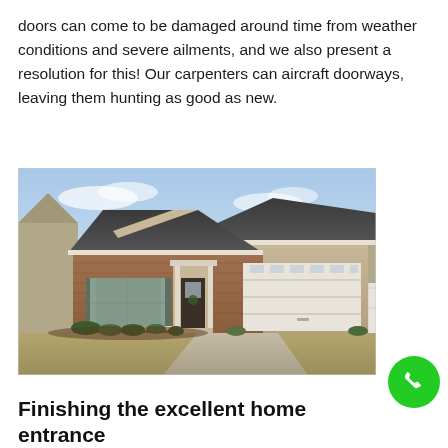doors can come to be damaged around time from weather conditions and severe ailments, and we also present a resolution for this! Our carpenters can aircraft doorways, leaving them hunting as good as new.
[Figure (photo): Exterior photo of a single-story residential home with brick facade, dark shingled roof, white garage door, green shutters on windows, front landscaping, and a concrete driveway under a partly cloudy sky.]
Finishing the excellent home entrance